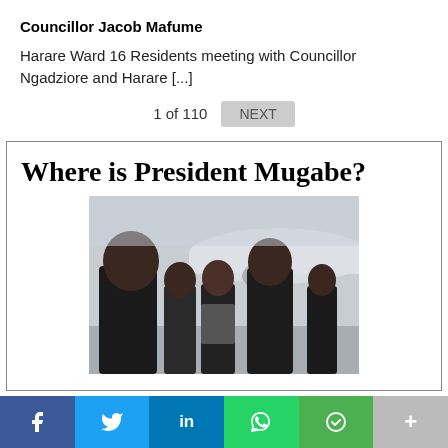Councillor Jacob Mafume
Harare Ward 16 Residents meeting with Councillor Ngadziore and Harare [...]
1 of 110  NEXT
Where is President Mugabe?
[Figure (photo): Group of people in dark coats standing near an aircraft on a tarmac]
f  twitter  in  WhatsApp  SMS  +